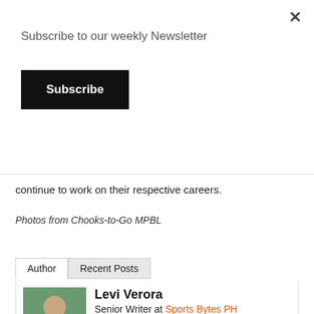Subscribe to our weekly Newsletter
Subscribe
continue to work on their respective careers.
Photos from Chooks-to-Go MPBL
Author
Recent Posts
Levi Verora
Senior Writer at Sports Bytes PH
Levi Joshua Jr. Verora is a sports writer, announcer, and commentator. He has covered national and international events like the FIBA Olympic and World Cup Qualifiers, AmeriCup, Asia Cup, and 3x3, Asian Volleyball Championship, ASEAN Basketball League,